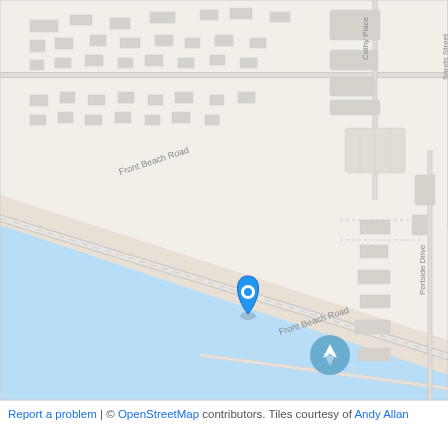[Figure (map): OpenStreetMap tile showing a coastal area with Front Beach Road running diagonally from upper-left to center-right. Streets visible include Cathy Place, Sands Street, and Portside Drive. A blue location pin marker is placed on Front Beach Road near the intersection with Sands Street. The lower portion shows a light blue water/ocean area. A north-facing arrow button is shown in the lower-right of the map area.]
Report a problem | © OpenStreetMap contributors. Tiles courtesy of Andy Allan